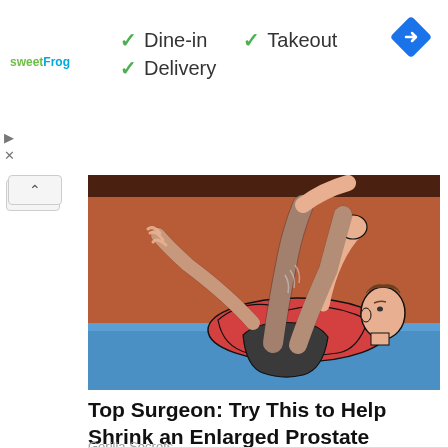[Figure (logo): sweetFrog logo with green and blue text]
✓ Dine-in  ✓ Takeout
✓ Delivery
[Figure (illustration): Person lying on a blue exercise mat doing leg raises, wearing red top and dark shorts, illustrated style]
Top Surgeon: Try This to Help Shrink an Enlarged Prostate (Watch Now)
Gorilla Secrets